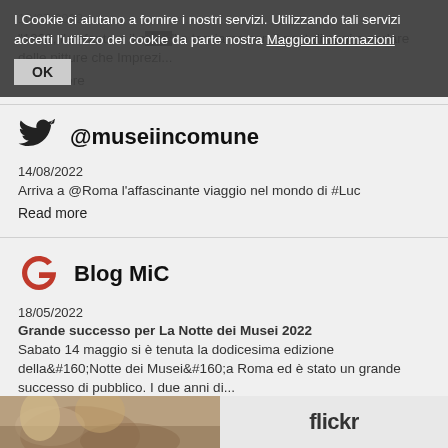I Cookie ci aiutano a fornire i nostri servizi. Utilizzando tali servizi accetti l'utilizzo dei cookie da parte nostra Maggiori informazioni
OK
"1932, l'elefante e il c...duto" e torniamo con il post di oggi a parlare delle pitture che Imprezi...
Read more
@museiincomune
14/08/2022
Arriva a @Roma l'affascinante viaggio nel mondo di #Luc
Read more
Blog MiC
18/05/2022
Grande successo per La Notte dei Musei 2022
Sabato 14 maggio si è tenuta la dodicesima edizione della&#160;Notte dei Musei&#160;a Roma ed è stato un grande successo di pubblico. I due anni di...
Read more
flickr